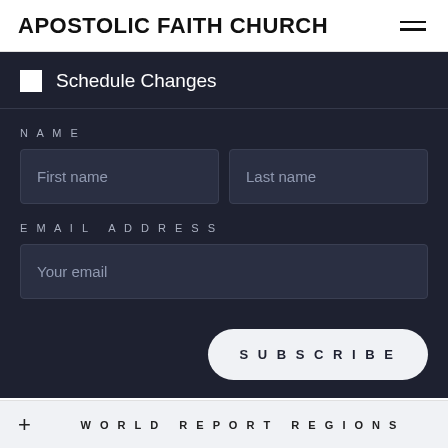APOSTOLIC FAITH CHURCH
Schedule Changes
NAME
First name
Last name
EMAIL ADDRESS
Your email
SUBSCRIBE
+ WORLD REPORT REGIONS